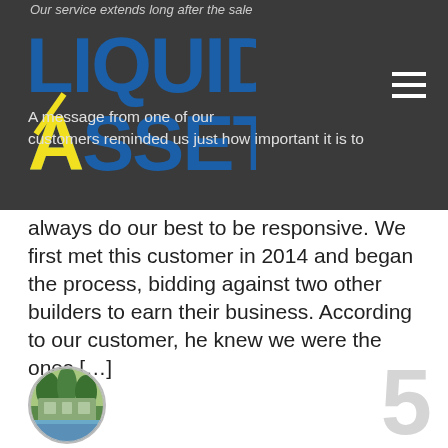Our service extends long after the sale
[Figure (logo): Liquid Assets logo with blue bold text and yellow A]
A message from one of our customers reminded us just how important it is to always do our best to be responsive. We first met this customer in 2014 and began the process, bidding against two other builders to earn their business. According to our customer, he knew we were the ones [...]
[Figure (photo): Circular thumbnail photo of a pool and building surrounded by trees]
Awards are great. Customer trust is even greater.
Feb 27, 2018
Liquid Assets Pools was proud to take home both the